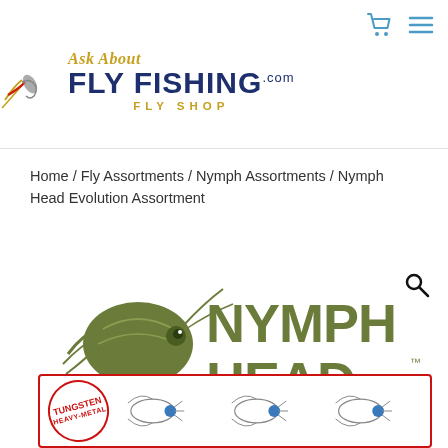Ask About Fly Fishing.com Fly Shop
Home / Fly Assortments / Nymph Assortments / Nymph Head Evolution Assortment
[Figure (logo): Nymph Head Evolution product logo with tungsten heavy-metal label and nymph fly illustrations]